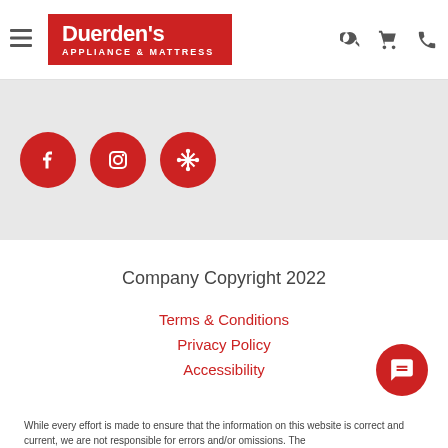Duerden's Appliance & Mattress — navigation header with hamburger menu, logo, search, cart, and phone icons
[Figure (other): Three red circular social media icons: Facebook, Instagram, and a snowflake/referral icon on a gray background]
Company Copyright 2022
Terms & Conditions
Privacy Policy
Accessibility
While every effort is made to ensure that the information on this website is correct and current, we are not responsible for errors and/or omissions. The...